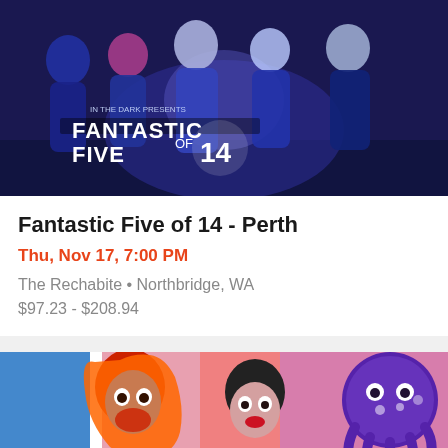[Figure (photo): Promotional photo for 'Fantastic Five of 14' drag show — five drag queens in blue/dark elaborate costumes on a dark stage background, with event title text overlay reading 'IN THE DARK PRESENTS FANTASTIC FIVE OF 14']
Fantastic Five of 14 - Perth
Thu, Nov 17, 7:00 PM
The Rechabite • Northbridge, WA
$97.23 - $208.94
[Figure (photo): Promotional photo showing drag performers including one with bright red/orange hair in red gloves, another in dark makeup, and a large purple cartoon octopus balloon prop, on a colorful pink/blue background]